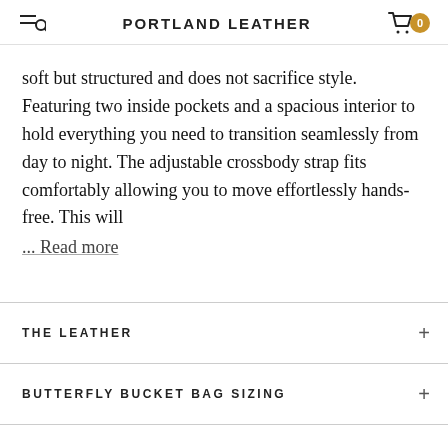PORTLAND LEATHER
soft but structured and does not sacrifice style. Featuring two inside pockets and a spacious interior to hold everything you need to transition seamlessly from day to night. The adjustable crossbody strap fits comfortably allowing you to move effortlessly hands-free. This will
... Read more
THE LEATHER
BUTTERFLY BUCKET BAG SIZING
SHIPPING